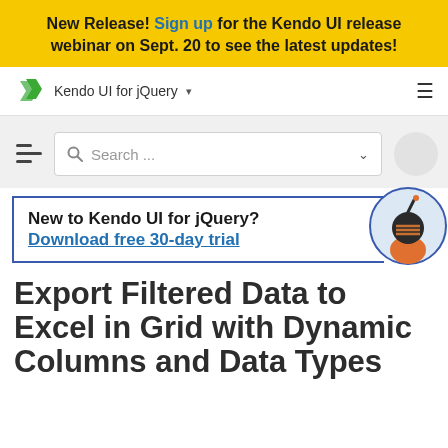New Release! Sign up for the Kendo UI release webinar on Sept. 20 to see the latest updates!
Kendo UI for jQuery
[Figure (screenshot): Search bar with magnifying glass icon, dropdown chevron, and dark mode moon button]
New to Kendo UI for jQuery? Download free 30-day trial
[Figure (illustration): Ninja character illustration in a circle with blue border]
Export Filtered Data to Excel in Grid with Dynamic Columns and Data Types